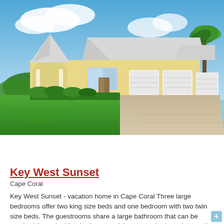[Figure (photo): Exterior photo of a large yellow vacation home with white hip roofs, three-car garage, green lawn, and blue sky with clouds — Key West Sunset vacation home in Cape Coral, Florida.]
LEARN MORE
BOOK NOW
Key West Sunset
Cape Coral
Key West Sunset - vacation home in Cape Coral Three large bedrooms offer two king size beds and one bedroom with two twin size beds. The guestrooms share a large bathroom that can be reached through either bedroom and the master bedroom's en suite bathroom has a roomy walk in shower, double sinks as well as a bathtub. The open living and dining room concept offers an entire wall of sliding doors and windows for an unobstructed view of the